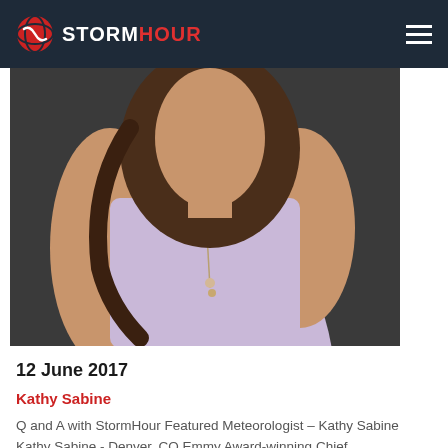STORMHOUR
[Figure (photo): Cropped photo of a woman with long brown hair wearing a light purple/lavender sleeveless top and a long chain necklace, posed against a dark gray background. Only her torso and partial face/hair are visible.]
12 June 2017
Kathy Sabine
Q and A with StormHour Featured Meteorologist – Kathy Sabine Kathy Sabine - Denver, CO.Emmy Award-winning Chief Meteorologist Kathy Sabine joined 9NEWS in the spring of 1993, and is currently the…